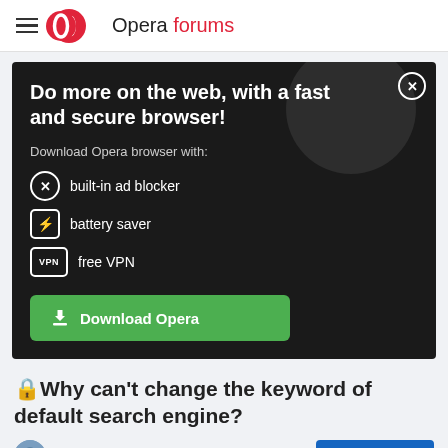Opera forums
[Figure (screenshot): Opera browser download advertisement banner with dark background. Heading: 'Do more on the web, with a fast and secure browser!' Features listed: built-in ad blocker, battery saver, free VPN. Green Download Opera button.]
🔒Why can't change the keyword of default search engine?
Opera for Mac
Log in to reply